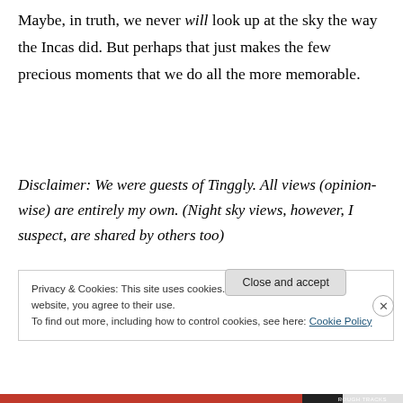Maybe, in truth, we never will look up at the sky the way the Incas did. But perhaps that just makes the few precious moments that we do all the more memorable.
Disclaimer: We were guests of Tinggly. All views (opinion-wise) are entirely my own. (Night sky views, however, I suspect, are shared by others too)
Privacy & Cookies: This site uses cookies. By continuing to use this website, you agree to their use.
To find out more, including how to control cookies, see here: Cookie Policy